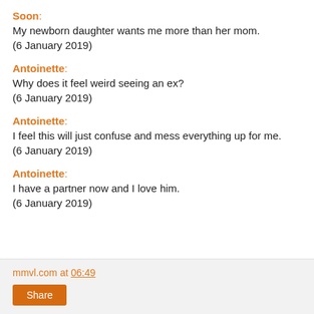Soon: My newborn daughter wants me more than her mom. (6 January 2019)
Antoinette: Why does it feel weird seeing an ex? (6 January 2019)
Antoinette: I feel this will just confuse and mess everything up for me. (6 January 2019)
Antoinette: I have a partner now and I love him. (6 January 2019)
mmvl.com at 06:49  Share